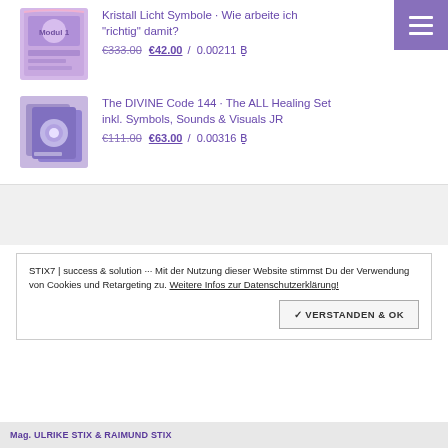[Figure (illustration): Product image for Kristall Licht Symbole module]
Kristall Licht Symbole · Wie arbeite ich "richtig" damit?
€333.00 €42.00 / 0.00211 Ƀ
[Figure (illustration): Product image for The DIVINE Code 144 set]
The DIVINE Code 144 · The ALL Healing Set inkl. Symbols, Sounds & Visuals JR
€111.00 €63.00 / 0.00316 Ƀ
STIX7 | success & solution ··· Mit der Nutzung dieser Website stimmst Du der Verwendung von Cookies und Retargeting zu. Weitere Infos zur Datenschutzerklärung!
✓ VERSTANDEN & OK
Mag. ULRIKE STIX & RAIMUND STIX